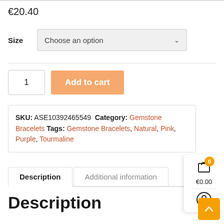€20.40
Size  Choose an option
1  Add to cart
SKU: ASE10392465549 Category: Gemstone Bracelets Tags: Gemstone Bracelets, Natural, Pink, Purple, Tourmaline
Description  Additional information
Description